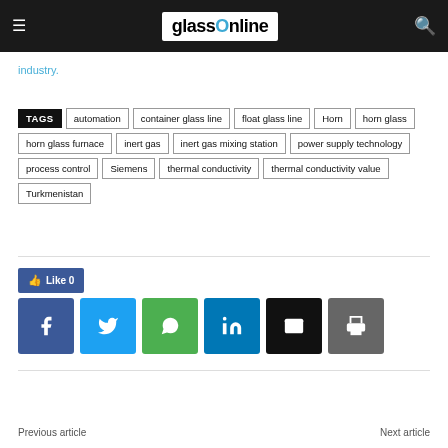glassOnline
industry.
TAGS  automation  container glass line  float glass line  Horn  horn glass  horn glass furnace  inert gas  inert gas mixing station  power supply technology  process control  Siemens  thermal conductivity  thermal conductivity value  Turkmenistan
Like 0
Previous article    Next article